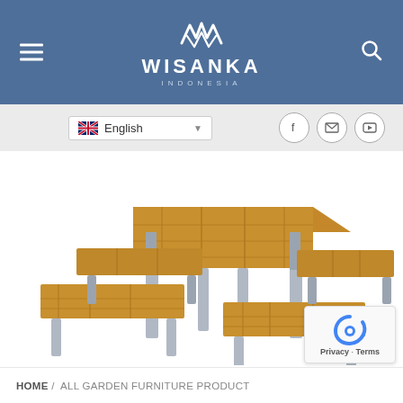WISANKA INDONESIA
[Figure (screenshot): Language selector bar with English flag and dropdown, plus social media icons (Facebook, email, YouTube)]
[Figure (photo): Outdoor garden furniture set consisting of a large square teak wood table with grey metal legs surrounded by four matching teak wood benches with grey metal legs, on white background]
HOME / ALL GARDEN FURNITURE PRODUCT